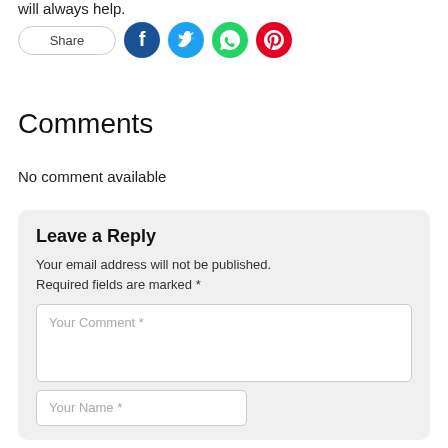will always help.
[Figure (infographic): Share button and four social media icons: Facebook (dark blue), Twitter (light blue), WhatsApp (green), Pinterest (red)]
Comments
No comment available
Leave a Reply
Your email address will not be published. Required fields are marked *
Your Comment *
Your Name *